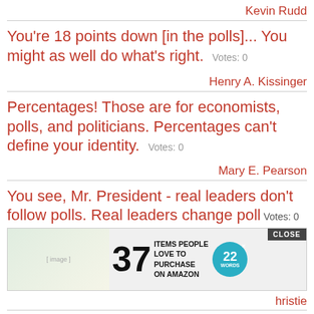Kevin Rudd
You're 18 points down [in the polls]... You might as well do what's right. Votes: 0
Henry A. Kissinger
Percentages! Those are for economists, polls, and politicians. Percentages can't define your identity. Votes: 0
Mary E. Pearson
You see, Mr. President - real leaders don't follow polls. Real leaders change po... Votes: 0
[Figure (other): Advertisement banner: 37 ITEMS PEOPLE LOVE TO PURCHASE ON AMAZON, with 22 Words logo and CLOSE button]
...hristie
President Obama is now losing to 'Republican Nominee' in polls - no name needed. Votes: 0